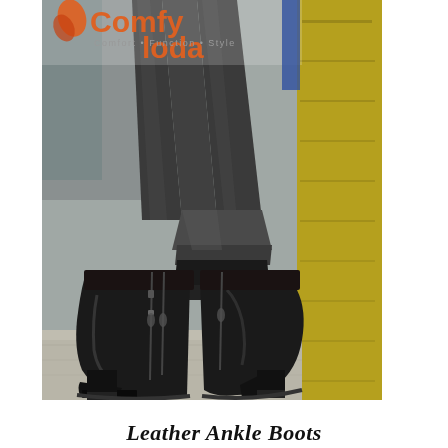[Figure (photo): Close-up photo of a person's lower legs wearing dark grey/charcoal rolled cuff jeans and black leather ankle boots with side zipper detail and block heel, standing on a sidewalk next to a yellow-green painted metal pole. Brand logo 'Comfy loda' with tagline 'Comfort • Function • Style' overlaid at top.]
Leather Ankle Boots